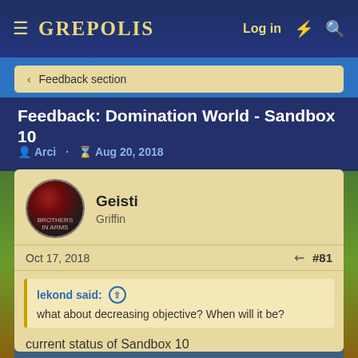GREPOLIS  Log in
< Feedback section
Feedback: Domination World - Sandbox 10
Arci · Aug 20, 2018
Geisti
Griffin
Oct 17, 2018  #81
lekond said: ↑
what about decreasing objective? When will it be?
current status of Sandbox 10
[Figure (photo): Broken image placeholder: qfdisslty68.jpg]